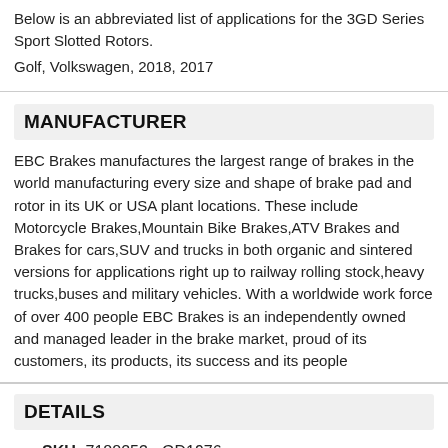Below is an abbreviated list of applications for the 3GD Series Sport Slotted Rotors.
Golf, Volkswagen, 2018, 2017
MANUFACTURER
EBC Brakes manufactures the largest range of brakes in the world manufacturing every size and shape of brake pad and rotor in its UK or USA plant locations. These include Motorcycle Brakes,Mountain Bike Brakes,ATV Brakes and Brakes for cars,SUV and trucks in both organic and sintered versions for applications right up to railway rolling stock,heavy trucks,buses and military vehicles. With a worldwide work force of over 400 people EBC Brakes is an independently owned and managed leader in the brake market, proud of its customers, its products, its success and its people
DETAILS
SKU: 7188253 - GD1976